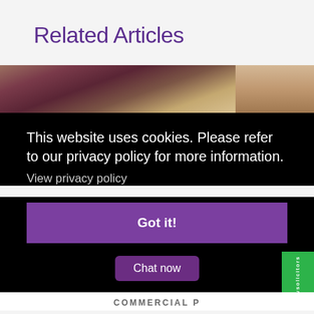Related Articles
[Figure (photo): Decorative architectural photo showing ornate building facade with warm brown/maroon tones]
This website uses cookies. Please refer to our privacy policy for more information.
View privacy policy
Got it!
Chat now
COMMERCIAL P